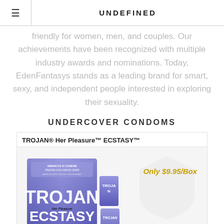UNDEFINED
friendly for women, men, and couples. Our achievements have been recognized with multiple industry awards and nominations. Today, EdenFantasys stands as a leading brand for smart, sexy, and independent people interested in exploring their sexuality.
UNDERCOVER CONDOMS
[Figure (photo): Product image of TROJAN® Her Pleasure™ ECSTASY™ condom box with price label Only $9.95/Box in gold text, purple packaging with Trojan branding and ECSTASY text, accompanied by individual condom packets.]
TROJAN® Her Pleasure™ ECSTASY™ — Only $9.95/Box